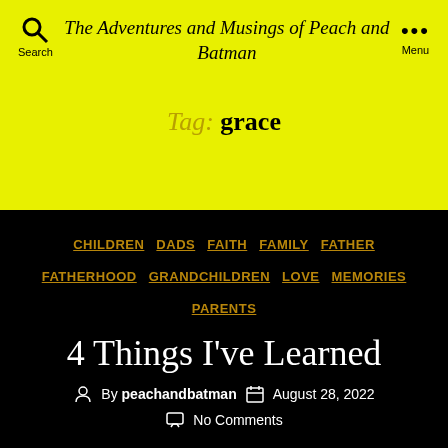The Adventures and Musings of Peach and Batman
Tag: grace
CHILDREN  DADS  FAITH  FAMILY  FATHER  FATHERHOOD  GRANDCHILDREN  LOVE  MEMORIES  PARENTS
4 Things I've Learned
By peachandbatman  August 28, 2022  No Comments